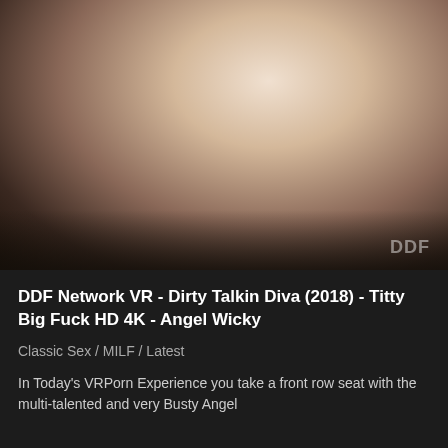[Figure (photo): Adult content photograph showing two people on a white surface in an indoor studio setting with lighting equipment visible in the background.]
DDF Network VR - Dirty Talkin Diva (2018) - Titty Big Fuck HD 4K - Angel Wicky
Classic Sex / MILF / Latest
In Today's VRPorn Experience you take a front row seat with the multi-talented and very Busty Angel